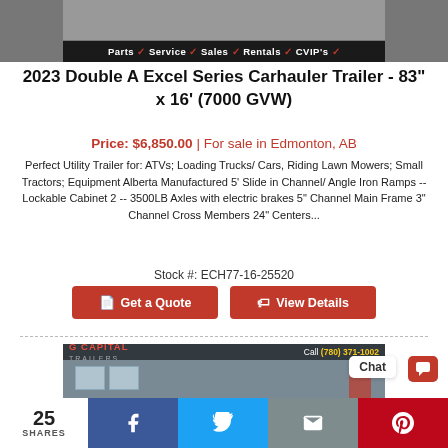[Figure (photo): Top image showing gravel/dirt surface with a black services bar below reading: Parts, Service, Sales, Rentals, CVIP's with red checkmarks]
2023 Double A Excel Series Carhauler Trailer - 83" x 16' (7000 GVW)
Price: $6,850.00 | For sale in Edmonton, AB
Perfect Utility Trailer for: ATVs; Loading Trucks/ Cars, Riding Lawn Mowers; Small Tractors; Equipment Alberta Manufactured 5' Slide in Channel/ Angle Iron Ramps -- Lockable Cabinet 2 -- 3500LB Axles with electric brakes 5" Channel Main Frame 3" Channel Cross Members 24" Centers...
Stock #: ECH77-16-25520
[Figure (screenshot): Capital Trailers building exterior photo with red and white logo and call number (780) 371-1002]
Chat
25 SHARES